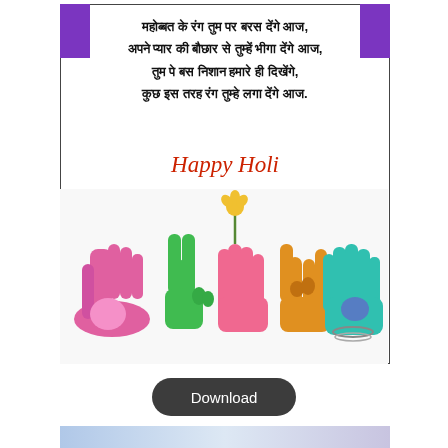[Figure (illustration): Holi greeting card with Hindi poem text, 'Happy Holi' in red cursive, and colorful painted hands at the bottom. Purple corner accents on top. White background with black border.]
Download
[Figure (illustration): Bottom preview of next card with light blue-purple gradient background.]